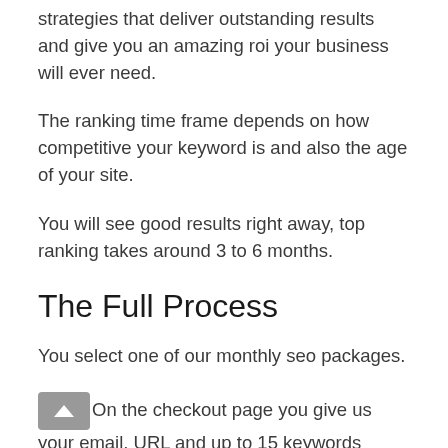strategies that deliver outstanding results and give you an amazing roi your business will ever need.
The ranking time frame depends on how competitive your keyword is and also the age of your site.
You will see good results right away, top ranking takes around 3 to 6 months.
The Full Process
You select one of our monthly seo packages.
On the checkout page you give us your email, URL and up to 15 keywords (depending on which package you select).